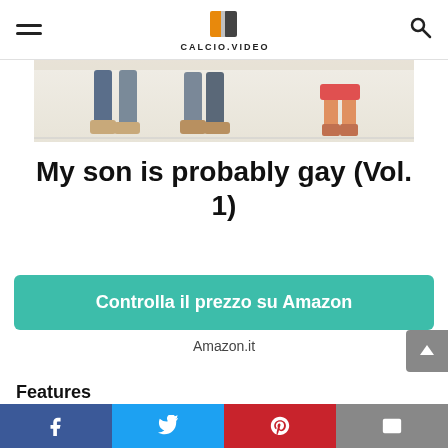CALCIO.VIDEO
[Figure (illustration): Cropped illustration showing legs of walking people, adult and child, on a light background.]
My son is probably gay (Vol. 1)
Controlla il prezzo su Amazon
Amazon.it
Features
| Release Date |  |
| --- | --- |
| Release Date | 2021-04-08T00:00:01Z |